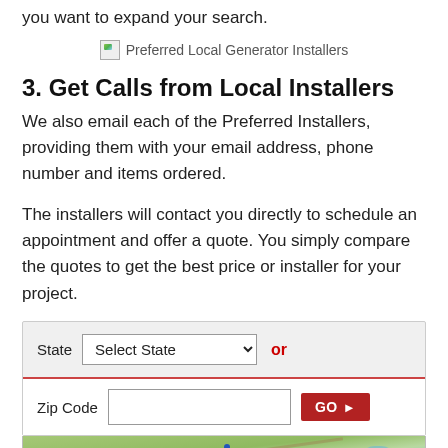you want to expand your search.
[Figure (photo): Preferred Local Generator Installers image placeholder]
3. Get Calls from Local Installers
We also email each of the Preferred Installers, providing them with your email address, phone number and items ordered.
The installers will contact you directly to schedule an appointment and offer a quote. You simply compare the quotes to get the best price or installer for your project.
[Figure (screenshot): Form with State dropdown (Select State) and 'or' label, Zip Code input field and GO button, and a map preview at the bottom showing Map and Satellite tabs]